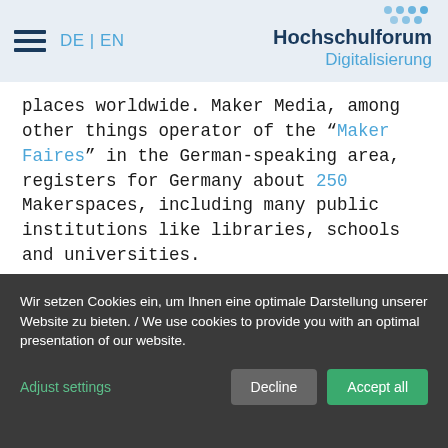DE | EN  Hochschulforum Digitalisierung
places worldwide. Maker Media, among other things operator of the "Maker Faires" in the German-speaking area, registers for Germany about 250 Makerspaces, including many public institutions like libraries, schools and universities.
Under the mentioned terms, only Fab-Labs is
[Figure (photo): Workshop or makerspace interior showing people working with machines and equipment, robotic arms visible in background]
Wir setzen Cookies ein, um Ihnen eine optimale Darstellung unserer Website zu bieten. / We use cookies to provide you with an optimal presentation of our website.
Adjust settings
Decline
Accept all